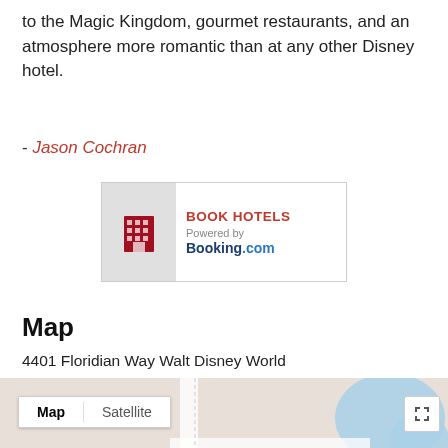to the Magic Kingdom, gourmet restaurants, and an atmosphere more romantic than at any other Disney hotel.
- Jason Cochran
[Figure (other): Book Hotels advertisement banner powered by Booking.com with a red building icon on a grey background]
Map
4401 Floridian Way Walt Disney World
[Figure (map): Google Maps embed showing the location of 4401 Floridian Way Walt Disney World with Map/Satellite toggle, a red location pin, an orange restaurant pin labeled Gaspavila Island Grill (American - $$), a blue navigation pin, and a yellow pegman figure. A close button (X) is visible at bottom right.]